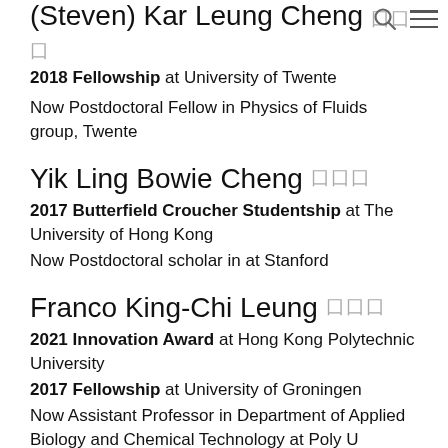(Steven) Kar Leung Cheng 囗囗囗
2018 Fellowship at University of Twente
Now Postdoctoral Fellow in Physics of Fluids group, Twente
Yik Ling Bowie Cheng 囗囗囗
2017 Butterfield Croucher Studentship at The University of Hong Kong
Now Postdoctoral scholar in at Stanford
Franco King-Chi Leung 囗囗囗
2021 Innovation Award at Hong Kong Polytechnic University
2017 Fellowship at University of Groningen
Now Assistant Professor in Department of Applied Biology and Chemical Technology at Poly U
O...